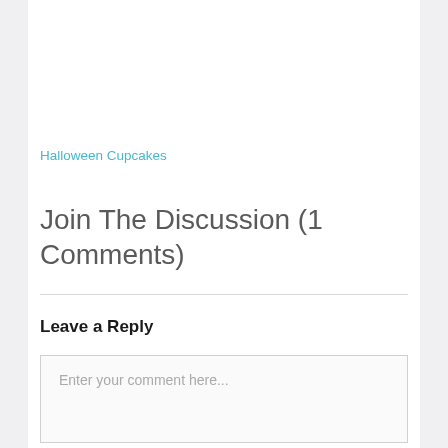Halloween Cupcakes
Join The Discussion (1 Comments)
Leave a Reply
Enter your comment here...